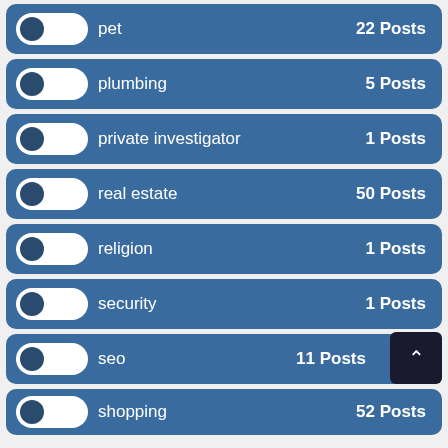pet — 22 Posts
plumbing — 5 Posts
private investigator — 1 Posts
real estate — 50 Posts
religion — 1 Posts
security — 1 Posts
seo — 11 Posts
shopping — 52 Posts